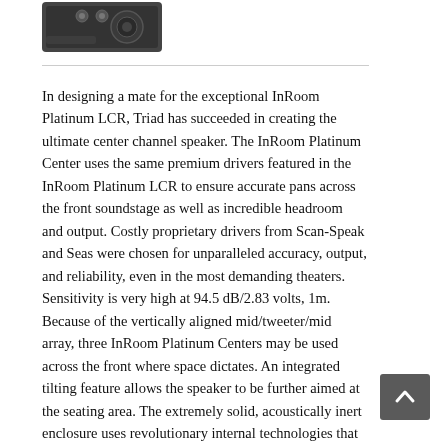[Figure (photo): Photo of a speaker product (InRoom Platinum Center), dark/black in-wall speaker unit shown at top left]
In designing a mate for the exceptional InRoom Platinum LCR, Triad has succeeded in creating the ultimate center channel speaker. The InRoom Platinum Center uses the same premium drivers featured in the InRoom Platinum LCR to ensure accurate pans across the front soundstage as well as incredible headroom and output. Costly proprietary drivers from Scan-Speak and Seas were chosen for unparalleled accuracy, output, and reliability, even in the most demanding theaters. Sensitivity is very high at 94.5 dB/2.83 volts, 1m. Because of the vertically aligned mid/tweeter/mid array, three InRoom Platinum Centers may be used across the front where space dictates. An integrated tilting feature allows the speaker to be further aimed at the seating area. The extremely solid, acoustically inert enclosure uses revolutionary internal technologies that disperse and absorb the